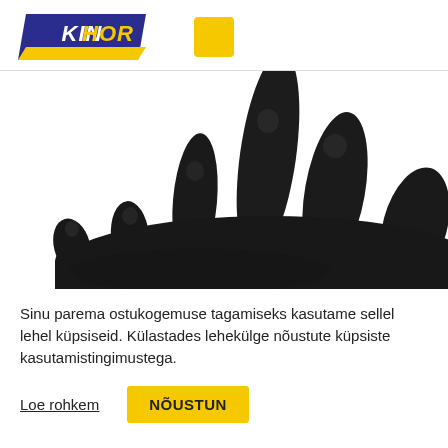[Figure (logo): KINHOR logo — dark blue parallelogram background with yellow bottom bar and white/yellow italic bold text reading KINHOR, plus a separate yellow square to the right]
[Figure (photo): Close-up photo of a black knitted work glove against a white background, showing the back of the hand with five spread fingers]
Sinu parema ostukogemuse tagamiseks kasutame sellel lehel küpsiseid. Külastades lehekülge nõustute küpsiste kasutamistingimustega.
Loe rohkem
NÕUSTUN